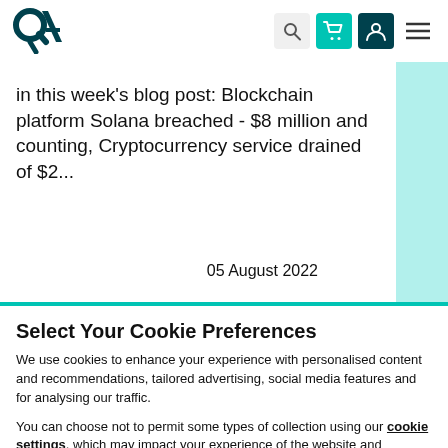QA logo and navigation icons (search, cart, user, menu)
in this week's blog post: Blockchain platform Solana breached - $8 million and counting, Cryptocurrency service drained of $2...
05 August 2022
Select Your Cookie Preferences
We use cookies to enhance your experience with personalised content and recommendations, tailored advertising, social media features and for analysing our traffic.
You can choose not to permit some types of collection using our cookie settings, which may impact your experience of the website and services we offer.
Accept all cookies
Show details